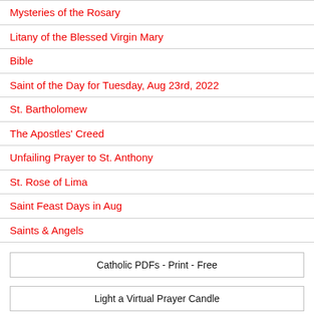Mysteries of the Rosary
Litany of the Blessed Virgin Mary
Bible
Saint of the Day for Tuesday, Aug 23rd, 2022
St. Bartholomew
The Apostles' Creed
Unfailing Prayer to St. Anthony
St. Rose of Lima
Saint Feast Days in Aug
Saints & Angels
Catholic PDFs - Print - Free
Light a Virtual Prayer Candle